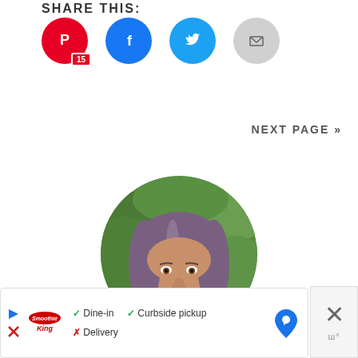SHARE THIS:
[Figure (infographic): Social share buttons: Pinterest (15 shares), Facebook, Twitter, Email]
NEXT PAGE »
[Figure (photo): Circular portrait photo of a woman with long brown hair, smiling, with green foliage background]
[Figure (infographic): Advertisement bar for Smoothie King showing Dine-in (check), Curbside pickup (check), Delivery (cross), with map/directions icon]